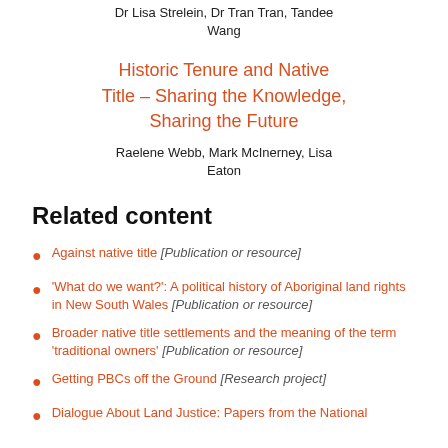Dr Lisa Strelein, Dr Tran Tran, Tandee Wang
Historic Tenure and Native Title – Sharing the Knowledge, Sharing the Future
Raelene Webb, Mark McInerney, Lisa Eaton
Related content
Against native title [Publication or resource]
'What do we want?': A political history of Aboriginal land rights in New South Wales [Publication or resource]
Broader native title settlements and the meaning of the term 'traditional owners' [Publication or resource]
Getting PBCs off the Ground [Research project]
Dialogue About Land Justice: Papers from the National